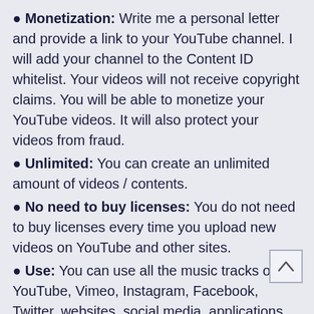Monetization: Write me a personal letter and provide a link to your YouTube channel. I will add your channel to the Content ID whitelist. Your videos will not receive copyright claims. You will be able to monetize your YouTube videos. It will also protect your videos from fraud.
Unlimited: You can create an unlimited amount of videos / contents.
No need to buy licenses: You do not need to buy licenses every time you upload new videos on YouTube and other sites.
Use: You can use all the music tracks on YouTube, Vimeo, Instagram, Facebook, Twitter, websites, social media, applications, radio, TV and more.
►Original video by Vesper Air:
https://vimeo.com/316942209 /Attribution 3.0 Unported